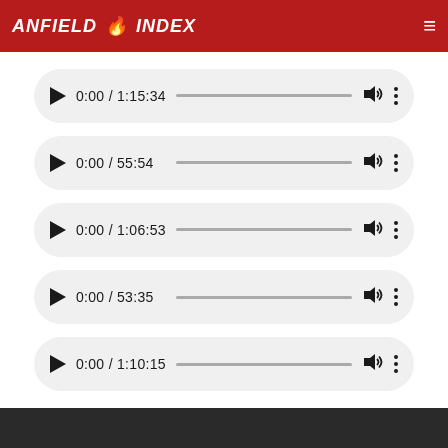ANFIELD INDEX
[Figure (screenshot): Audio player 1: 0:00 / 1:15:34]
[Figure (screenshot): Audio player 2: 0:00 / 55:54]
[Figure (screenshot): Audio player 3: 0:00 / 1:06:53]
[Figure (screenshot): Audio player 4: 0:00 / 53:35]
[Figure (screenshot): Audio player 5: 0:00 / 1:10:15]